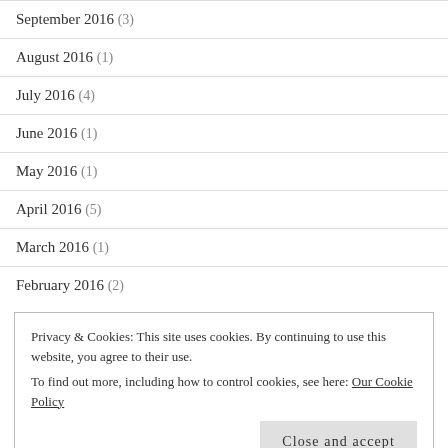September 2016 (3)
August 2016 (1)
July 2016 (4)
June 2016 (1)
May 2016 (1)
April 2016 (5)
March 2016 (1)
February 2016 (2)
Privacy & Cookies: This site uses cookies. By continuing to use this website, you agree to their use.
To find out more, including how to control cookies, see here: Our Cookie Policy
Close and accept